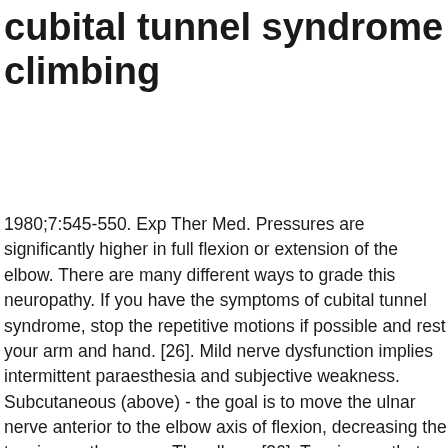cubital tunnel syndrome climbing
1980;7:545-550. Exp Ther Med. Pressures are significantly higher in full flexion or extension of the elbow. There are many different ways to grade this neuropathy. If you have the symptoms of cubital tunnel syndrome, stop the repetitive motions if possible and rest your arm and hand. [26]. Mild nerve dysfunction implies intermittent paraesthesia and subjective weakness. Subcutaneous (above) - the goal is to move the ulnar nerve anterior to the elbow axis of flexion, decreasing the tension on the nerve. The elbow. [26]  Two issues that should be considered however, the ability of the splint to maintain the elbow at the ideal amount of flexion and patient compliance with night splinting. The compression causes paresthesias, numbness, and/or pain in the ulnar nerve distribution. Direct trauma or other space-occupying lesions, repetitive elbow flexion/extension, repetitive overhead activities, traction, subluxation of the ulnar nerve from the ulnar groove, metabolic disorders, congenital deformities, synovial cysts, anatomical irregularities, arthritis, joint inflammation, and occupational/athletic factors. Wolgi MA. Ultrasound therapy is also an option, but only when